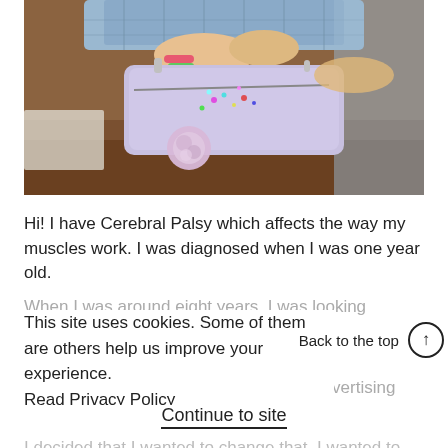[Figure (photo): A girl with bracelets and long blonde hair reaching into a colorful pencil case or purse with glitter/beads spilling out on a wooden desk. She is wearing a blue checked shirt.]
Hi! I have Cerebral Palsy which affects the way my muscles work. I was diagnosed when I was one year old.
When I was around eight years, I was looking through a [faded/overlaid text]
This site uses cookies. Some of them are others help us improve your experience. Read Privacy Policy
Back to the top ↑
ies were being excluded in media and advertising
Continue to site
I decided that I wanted to change that. I wanted to show